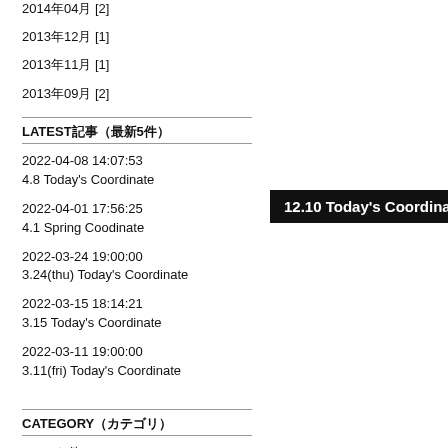2014年04月 [2]
2013年12月 [1]
2013年11月 [1]
2013年09月 [2]
LATEST記事（最新5件）
2022-04-08 14:07:53
4.8 Today's Coordinate
2022-04-01 17:56:25
4.1 Spring Coodinate
2022-03-24 19:00:00
3.24(thu) Today's Coordinate
2022-03-15 18:14:21
3.15 Today's Coordinate
2022-03-11 19:00:00
3.11(fri) Today's Coordinate
12.10 Today's Coordinate
CATEGORY（カテゴリ）
コーデ6件